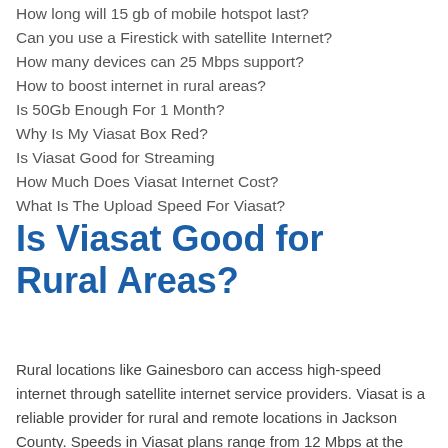How long will 15 gb of mobile hotspot last?
Can you use a Firestick with satellite Internet?
How many devices can 25 Mbps support?
How to boost internet in rural areas?
Is 50Gb Enough For 1 Month?
Why Is My Viasat Box Red?
Is Viasat Good for Streaming
How Much Does Viasat Internet Cost?
What Is The Upload Speed For Viasat?
Is Viasat Good for Rural Areas?
Rural locations like Gainesboro can access high-speed internet through satellite internet service providers. Viasat is a reliable provider for rural and remote locations in Jackson County. Speeds in Viasat plans range from 12 Mbps at the basic level up to 100 Mbps for home satellite internet. All plans have a data cap.